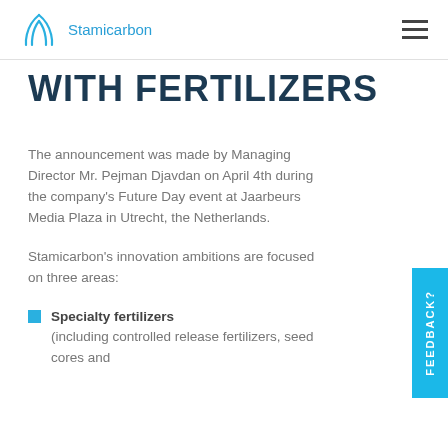Stamicarbon
WITH FERTILIZERS
The announcement was made by Managing Director Mr. Pejman Djavdan on April 4th during the company's Future Day event at Jaarbeurs Media Plaza in Utrecht, the Netherlands.
Stamicarbon's innovation ambitions are focused on three areas:
Specialty fertilizers (including controlled release fertilizers, seed cores and